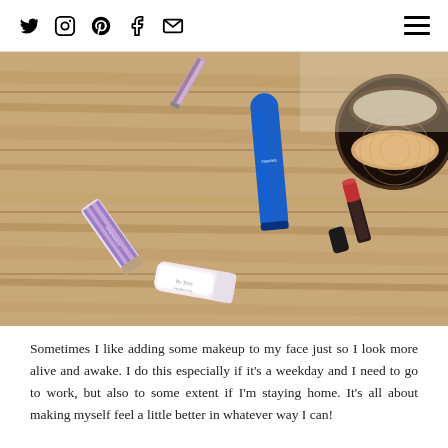Social media navigation icons and hamburger menu
[Figure (photo): Flat lay photo of makeup products on a wooden surface including a Chantecaille tube, blue mascara, compact powder with mirror, lipstick, and small cream tubes arranged on light wood planks.]
Sometimes I like adding some makeup to my face just so I look more alive and awake. I do this especially if it's a weekday and I need to go to work, but also to some extent if I'm staying home. It's all about making myself feel a little better in whatever way I can!